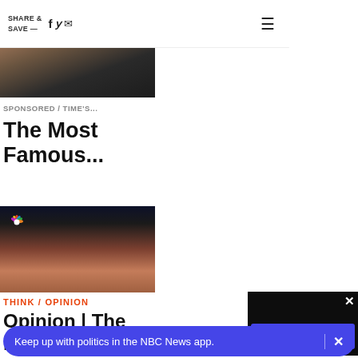SHARE & SAVE — [social icons] [menu]
[Figure (photo): Photo of a man and woman, partially visible, cropped at top]
SPONSORED / TIME'S...
The Most Famous...
[Figure (photo): NBC News logo overlay on photo of man with glasses and red frames, hand on chin, dark background]
THINK / OPINION
Opinion | The legal analysis
[Figure (screenshot): Video player overlay with TAP TO UNMUTE button in blue]
Keep up with politics in the NBC News app.
[Figure (photo): Partial photo at bottom of page, cropped]